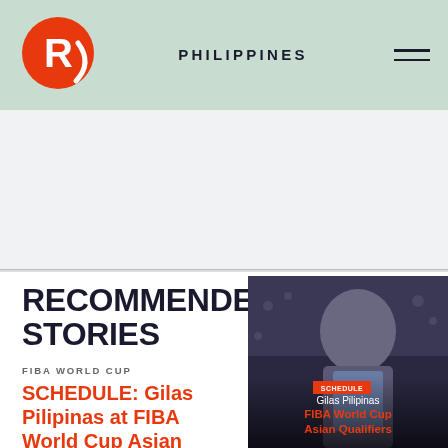PHILIPPINES
[Figure (logo): Rappler red circular R logo]
[Figure (photo): Basketball player in blue jersey with crowd in background; overlay shows SCHEDULE badge, Gilas Pilipinas text, FIBA World Cup Asian Qualifiers text in red]
RECOMMENDED STORIES
FIBA WORLD CUP
SCHEDULE: Gilas Pilipinas at FIBA World Cup Asian Qualifiers 2023